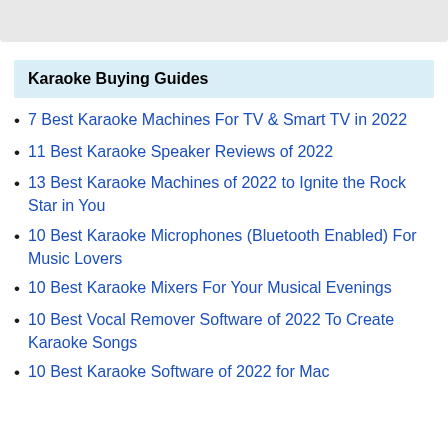Karaoke Buying Guides
7 Best Karaoke Machines For TV & Smart TV in 2022
11 Best Karaoke Speaker Reviews of 2022
13 Best Karaoke Machines of 2022 to Ignite the Rock Star in You
10 Best Karaoke Microphones (Bluetooth Enabled) For Music Lovers
10 Best Karaoke Mixers For Your Musical Evenings
10 Best Vocal Remover Software of 2022 To Create Karaoke Songs
10 Best Karaoke Software of 2022 for Mac